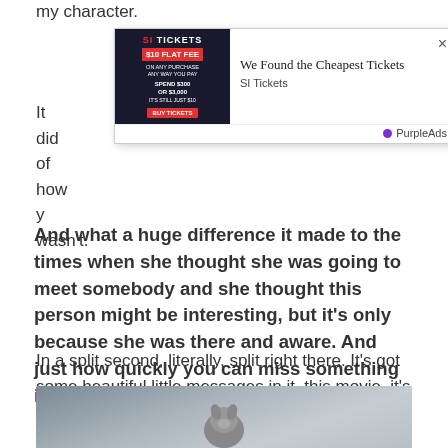my character.
[Figure (screenshot): Pop-up advertisement overlay for SI Tickets showing '$10 Flat Fee' offer with text 'We Found the Cheapest Tickets' and 'PurpleAds' branding.]
It did … e of how y… wasn't.
And what a huge difference it made to the times when she thought she was going to meet somebody and she thought this person might be interesting, but it's only because she was there and aware. And just how quickly you can miss something if your face is buried in a phone.
In a split second, literally, split right there. It's got some beautiful little messages in it, this movie, it's very sweet.
[Figure (photo): Partial photo of an animal (appears to be a dog or similar) at the bottom of the page, blurred background.]